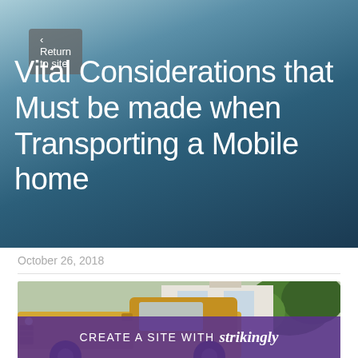< Return to site
Vital Considerations that Must be made when Transporting a Mobile home
October 26, 2018
[Figure (photo): A yellow vintage truck parked in front of a house with green trees in the background]
CREATE A SITE WITH strikingly